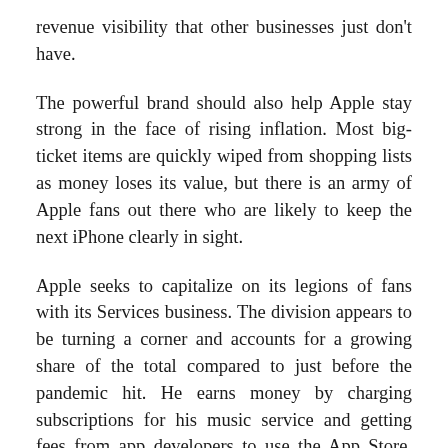revenue visibility that other businesses just don't have.
The powerful brand should also help Apple stay strong in the face of rising inflation. Most big-ticket items are quickly wiped from shopping lists as money loses its value, but there is an army of Apple fans out there who are likely to keep the next iPhone clearly in sight.
Apple seeks to capitalize on its legions of fans with its Services business. The division appears to be turning a corner and accounts for a growing share of the total compared to just before the pandemic hit. He earns money by charging subscriptions for his music service and getting fees from app developers to use the App Store. Service margins are higher and revenues are expected to be reliable – which overall will take the pressure off the group to deliver ever-increasing hardware sales in the future.
All of these forces and another strong quarter might make you wonder why the stock price reaction has been muted. There are